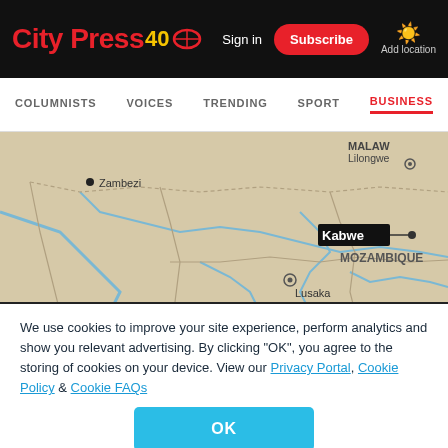City Press 40 | Sign in | Subscribe | Add location
COLUMNISTS | VOICES | TRENDING | SPORT | BUSINESS
[Figure (map): Map showing central Africa including Zambia with city markers for Kabwe, Lusaka, Choma, and surrounding countries/cities including Zambezi, Lilongwe (Malawi), Mozambique, and Tete.]
We use cookies to improve your site experience, perform analytics and show you relevant advertising. By clicking "OK", you agree to the storing of cookies on your device. View our Privacy Portal, Cookie Policy & Cookie FAQs
OK